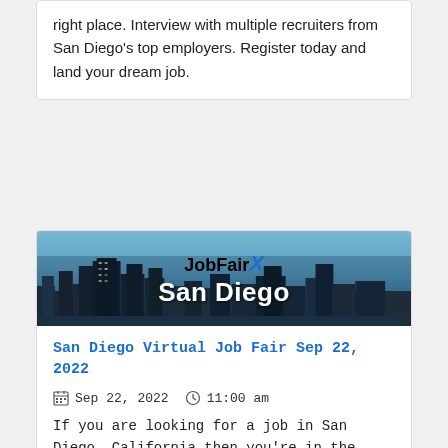right place. Interview with multiple recruiters from San Diego's top employers. Register today and land your dream job.
[Figure (photo): JobFairX San Diego banner image showing a city skyline with blue sky and the text 'JobFairX San Diego' overlaid]
San Diego Virtual Job Fair Sep 22, 2022
Sep 22, 2022   11:00 am
If you are looking for a job in San Diego, California then you're in the right place. Interview with multiple recruiters from San Diego's top employers. Register today and land your dream job.